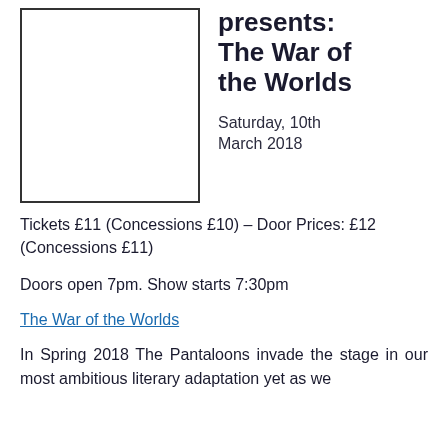[Figure (other): Empty white box with border, likely a placeholder for an event image]
presents: The War of the Worlds
Saturday, 10th March 2018
Tickets £11 (Concessions £10) – Door Prices: £12 (Concessions £11)
Doors open 7pm. Show starts 7:30pm
The War of the Worlds
In Spring 2018 The Pantaloons invade the stage in our most ambitious literary adaptation yet as we